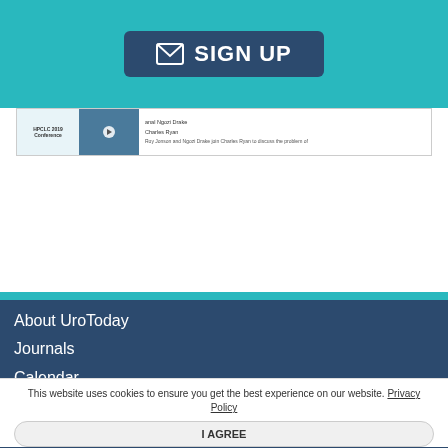[Figure (screenshot): SIGN UP button with envelope icon on teal background, with a video thumbnail strip below showing HPCLC 2019 Conference]
About UroToday
Journals
Calendar
Editorial and Advertising Guidelines
This website uses cookies to ensure you get the best experience on our website. Privacy Policy
I AGREE